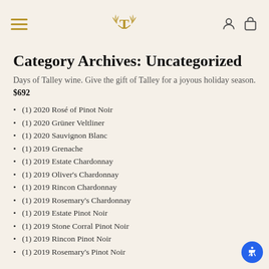Talley Vineyards navigation header with hamburger menu, T logo, account and cart icons
Category Archives: Uncategorized
Days of Talley wine. Give the gift of Talley for a joyous holiday season. $692
(1) 2020 Rosé of Pinot Noir
(1) 2020 Grüner Veltliner
(1) 2020 Sauvignon Blanc
(1) 2019 Grenache
(1) 2019 Estate Chardonnay
(1) 2019 Oliver's Chardonnay
(1) 2019 Rincon Chardonnay
(1) 2019 Rosemary's Chardonnay
(1) 2019 Estate Pinot Noir
(1) 2019 Stone Corral Pinot Noir
(1) 2019 Rincon Pinot Noir
(1) 2019 Rosemary's Pinot Noir